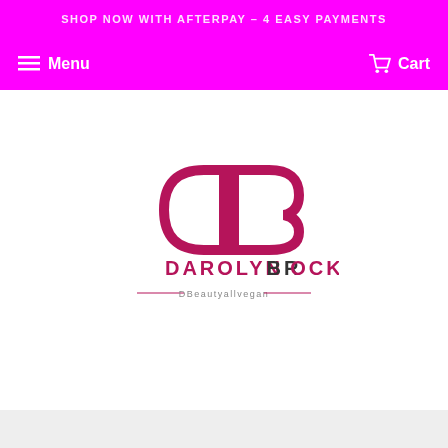SHOP NOW with AFTERPAY – 4 EASY PAYMENTS
Menu | Cart
[Figure (logo): Darolyn Brock DBeautyallvegan logo — stylized DB monogram in dark pink/magenta with the text DAROLYN BROCK and DBeautyallvegan beneath]